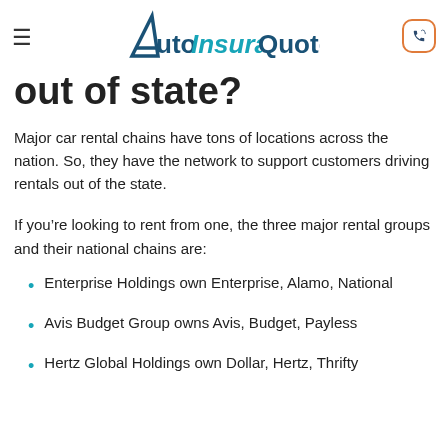AutoInsuranceQuote
out of state?
Major car rental chains have tons of locations across the nation. So, they have the network to support customers driving rentals out of the state.
If you're looking to rent from one, the three major rental groups and their national chains are:
Enterprise Holdings own Enterprise, Alamo, National
Avis Budget Group owns Avis, Budget, Payless
Hertz Global Holdings own Dollar, Hertz, Thrifty